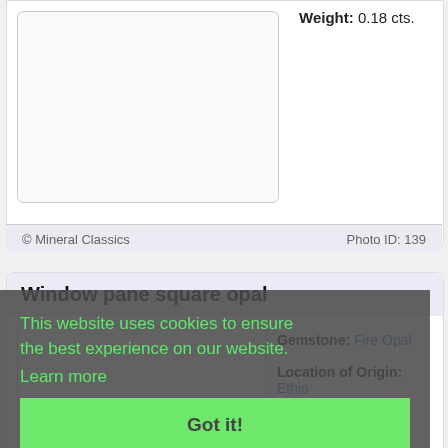Weight: 0.18 cts.
© Mineral Classics    Photo ID: 139
Window pane square opal
Gemstone: Fire Opal
Location of Origin: Ethio
Cut Type: Freeform
Weight: 1.54 cts.
© Mineral Classics    Photo ID: 140
This website uses cookies to ensure the best experience on our website.
Learn more
Got it!